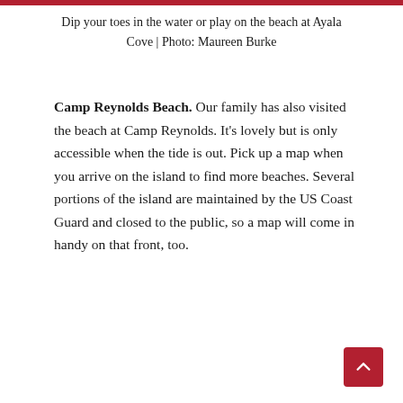Dip your toes in the water or play on the beach at Ayala Cove | Photo: Maureen Burke
Camp Reynolds Beach. Our family has also visited the beach at Camp Reynolds. It's lovely but is only accessible when the tide is out. Pick up a map when you arrive on the island to find more beaches. Several portions of the island are maintained by the US Coast Guard and closed to the public, so a map will come in handy on that front, too.